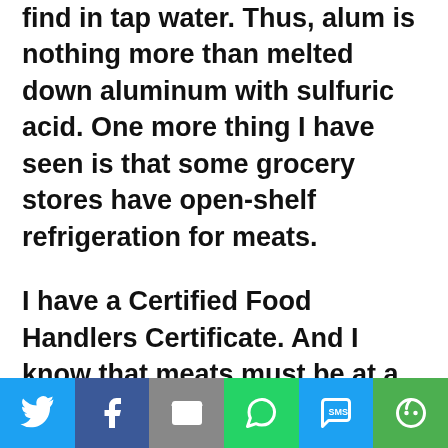find in tap water. Thus, alum is nothing more than melted down aluminum with sulfuric acid. One more thing I have seen is that some grocery stores have open-shelf refrigeration for meats.
I have a Certified Food Handlers Certificate. And I know that meats must be at a temperature under 40 degrees F, so it does not get spoiled. And should always be at the top of the icebox, not below
[Figure (other): Social sharing bar with icons for Twitter, Facebook, Email, WhatsApp, SMS, and More]